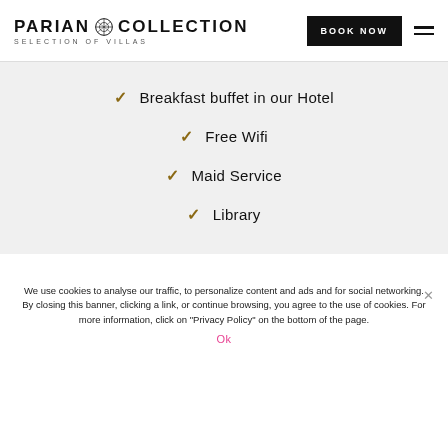PARIAN COLLECTION SELECTION OF VILLAS
Breakfast buffet in our Hotel
Free Wifi
Maid Service
Library
We use cookies to analyse our traffic, to personalize content and ads and for social networking. By closing this banner, clicking a link, or continue browsing, you agree to the use of cookies. For more information, click on "Privacy Policy" on the bottom of the page.
Ok